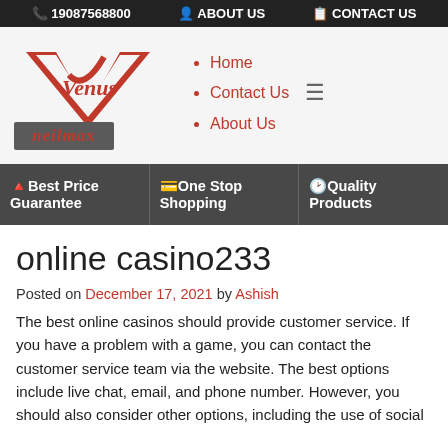19087568800  ABOUT US  CONTACT US
[Figure (logo): Venus Neilmax logo with red V checkmark and cursive text, name in gray box]
Home
Contact Us
About Us
Best Price Guarantee
One Stop Shopping
Quality Products
online casino233
Posted on December 17, 2021 by Ashish
The best online casinos should provide customer service. If you have a problem with a game, you can contact the customer service team via the website. The best options include live chat, email, and phone number. However, you should also consider other options, including the use of social